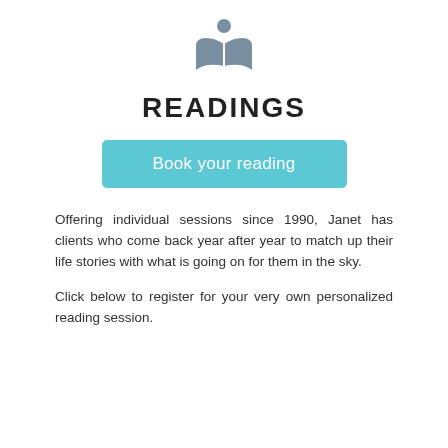[Figure (illustration): Gray icon of a person reading an open book]
READINGS
Book your reading
Offering individual sessions since 1990, Janet has clients who come back year after year to match up their life stories with what is going on for them in the sky.
Click below to register for your very own personalized reading session.